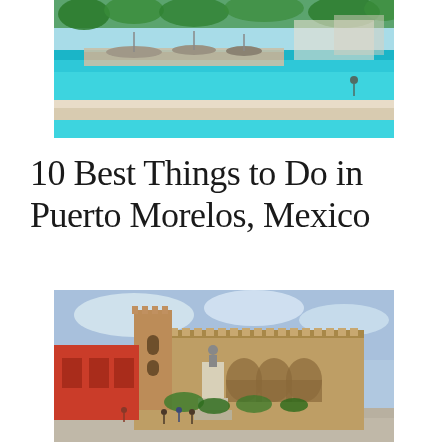[Figure (photo): Aerial/waterfront view of Puerto Morelos beach with turquoise water, boats docked along a pier, and palm trees in the background.]
10 Best Things to Do in Puerto Morelos, Mexico
[Figure (photo): Historic colonial-style building with stone facade, arched windows, a tall tower, and a monument/statue in the foreground plaza. People walking in the square.]